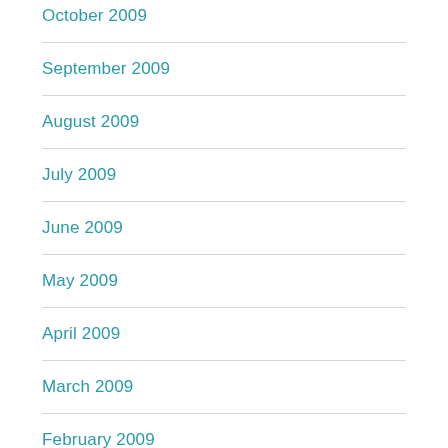October 2009
September 2009
August 2009
July 2009
June 2009
May 2009
April 2009
March 2009
February 2009
January 2009
December 2008